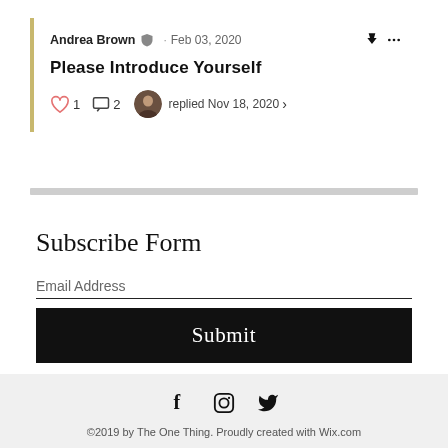Andrea Brown · Feb 03, 2020
Please Introduce Yourself
♡ 1  ☐ 2  replied Nov 18, 2020 >
Subscribe Form
Email Address
Submit
[Figure (infographic): Social media icons: Facebook (f), Instagram (circle), Twitter (bird)]
©2019 by The One Thing. Proudly created with Wix.com